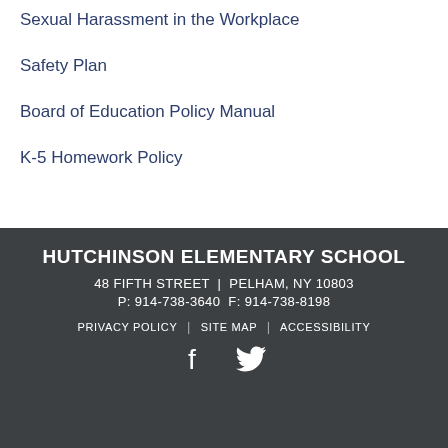Sexual Harassment in the Workplace
Safety Plan
Board of Education Policy Manual
K-5 Homework Policy
HUTCHINSON ELEMENTARY SCHOOL
48 FIFTH STREET | PELHAM, NY 10803
P: 914-738-3640 F: 914-738-8198
PRIVACY POLICY | SITE MAP | ACCESSIBILITY